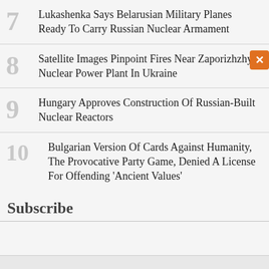7 Lukashenka Says Belarusian Military Planes Ready To Carry Russian Nuclear Armament
8 Satellite Images Pinpoint Fires Near Zaporizhzhya Nuclear Power Plant In Ukraine
9 Hungary Approves Construction Of Russian-Built Nuclear Reactors
10 Bulgarian Version Of Cards Against Humanity, The Provocative Party Game, Denied A License For Offending 'Ancient Values'
Subscribe